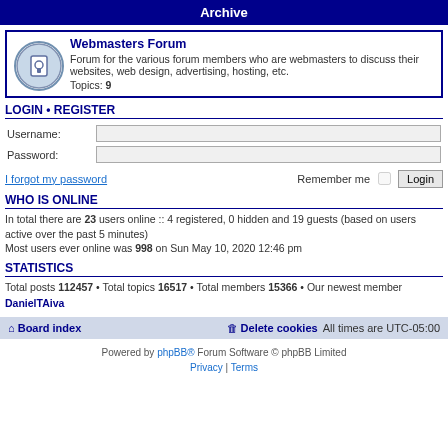Archive
Webmasters Forum
Forum for the various forum members who are webmasters to discuss their websites, web design, advertising, hosting, etc.
Topics: 9
LOGIN • REGISTER
Username:
Password:
I forgot my password  Remember me  Login
WHO IS ONLINE
In total there are 23 users online :: 4 registered, 0 hidden and 19 guests (based on users active over the past 5 minutes)
Most users ever online was 998 on Sun May 10, 2020 12:46 pm
STATISTICS
Total posts 112457 • Total topics 16517 • Total members 15366 • Our newest member DanielTAiva
Board index  Delete cookies  All times are UTC-05:00
Powered by phpBB® Forum Software © phpBB Limited
Privacy | Terms